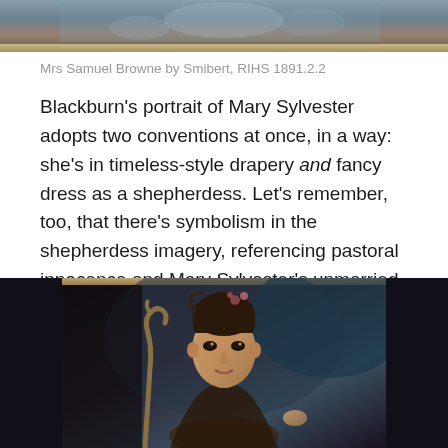[Figure (photo): Top portion of a portrait painting showing figures in historical dress, cropped at top of page]
Mrs Samuel Browne by Smibert, RIHS 1891.2.2
Blackburn's portrait of Mary Sylvester adopts two conventions at once, in a way: she's in timeless-style drapery and fancy dress as a shepherdess. Let's remember, too, that there's symbolism in the shepherdess imagery, referencing pastoral innocence and Mary Sylvester's unmarried, presumably virginal, status. Don't believe me? Read the catalog entry, written (at the very least) under the supervision of actual, degree-toting art historians.
[Figure (photo): Portrait painting of a woman in 18th century shepherdess costume, holding a staff, with floral hair decoration, against a dark background]